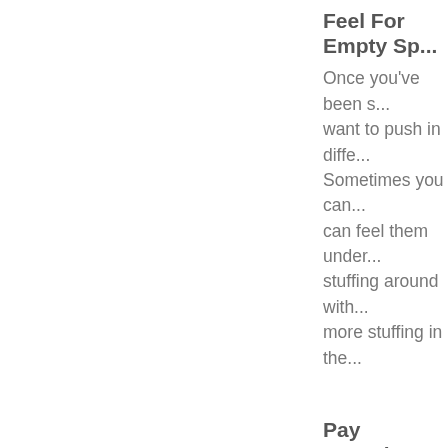Feel For Empty Sp...
Once you've been s... want to push in diffe... Sometimes you can... can feel them under... stuffing around with... more stuffing in the...
Pay Attention to Yo...
You want to make s... you are trying to cre... check the shape yo... The stuffing should... hard to crochet, not...
Stuff it to High Hea...
I know I've already s... you've put enough s... the stuffing is startin... spreading out, but y... going to be nice an...